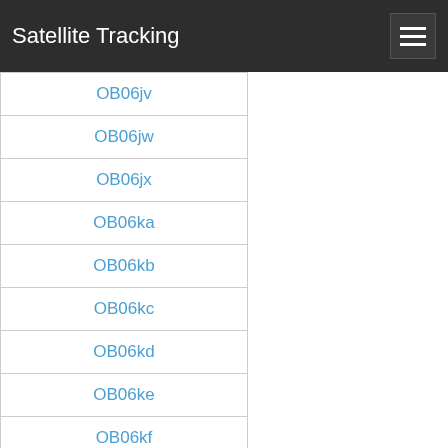Satellite Tracking
OB06jv
OB06jw
OB06jx
OB06ka
OB06kb
OB06kc
OB06kd
OB06ke
OB06kf
OB06kg
OB06kh
OB06ki
OB06kj
OB06kk
OB06kl
OB06km
OB06kn